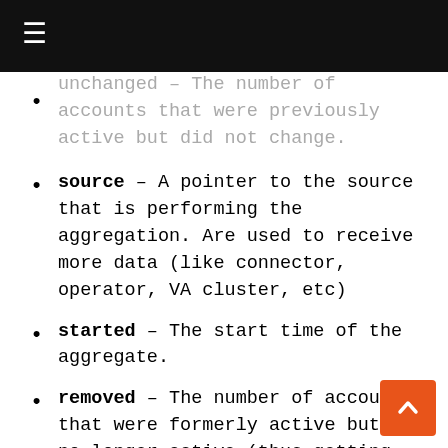☰
unchanged – The number of accounts that were previously active but did not change.
source – A pointer to the source that is performing the aggregation. Are used to receive more data (like connector, operator, VA cluster, etc)
started – The start time of the aggregate.
removed – The number of accounts that were formerly active but are no longer active (thus getting eliminated).
errors – A record of error codes gathered during the aggregation.
stats – These are the total statistics gathered during the aggregation process